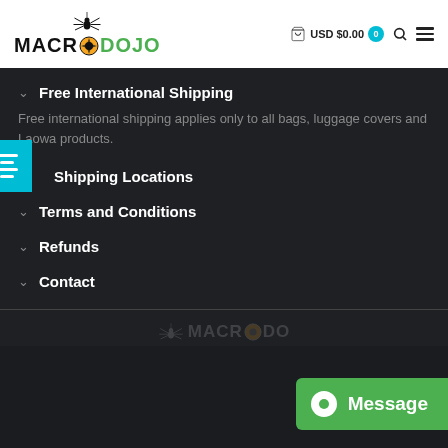[Figure (logo): MacroDojo logo with spider and camera shutter icon, black and green text on white background]
Free International Shipping
Free international shipping applies only to all bags, luggage covers and Laowa products.
Shipping Locations
Terms and Conditions
Refunds
Contact
[Figure (logo): MacroDojo footer logo, faded, with spider icon]
[Figure (other): Green Message button with chat icon in bottom right]